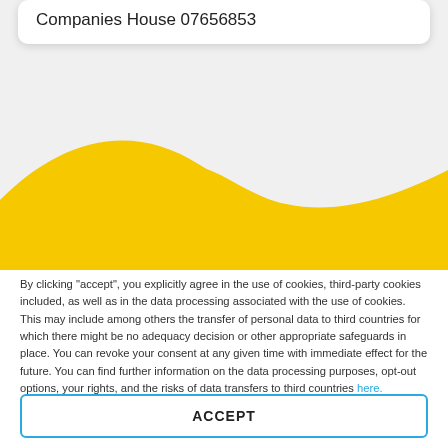Companies House 07656853
[Figure (illustration): Yellow wave decorative banner dividing the page background]
By clicking "accept", you explicitly agree in the use of cookies, third-party cookies included, as well as in the data processing associated with the use of cookies. This may include among others the transfer of personal data to third countries for which there might be no adequacy decision or other appropriate safeguards in place. You can revoke your consent at any given time with immediate effect for the future. You can find further information on the data processing purposes, opt-out options, your rights, and the risks of data transfers to third countries here.
ACCEPT